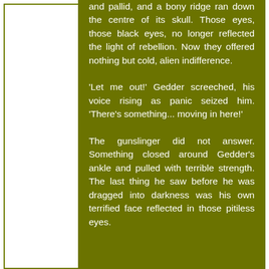and pallid, and a bony ridge ran down the centre of its skull. Those eyes, those black eyes, no longer reflected the light of rebellion. Now they offered nothing but cold, alien indifference.

'Let me out!' Gedder screeched, his voice rising as panic seized him. 'There's something... moving in here!'

The gunslinger did not answer. Something closed around Gedder's ankle and pulled with terrible strength. The last thing he saw before he was dragged into darkness was his own terrified face reflected in those pitiless eyes.